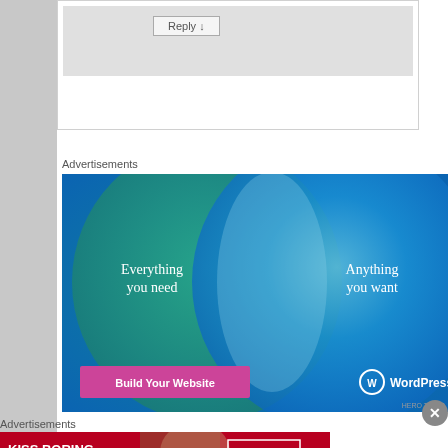[Figure (screenshot): Reply button inside a comment reply box with grey background]
Advertisements
[Figure (illustration): WordPress.com advertisement showing a Venn diagram with 'Everything you need' and 'Anything you want' circles, with 'Build Your Website' pink button and WordPress.com logo on blue/teal gradient background]
Advertisements
[Figure (photo): Macy's advertisement: 'KISS BORING LIPS GOODBYE' with SHOP NOW button and Macy's star logo on red background with woman's face]